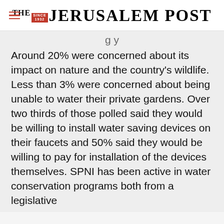THE JERUSALEM POST
Around 20% were concerned about its impact on nature and the country's wildlife. Less than 3% were concerned about being unable to water their private gardens. Over two thirds of those polled said they would be willing to install water saving devices on their faucets and 50% said they would be willing to pay for installation of the devices themselves. SPNI has been active in water conservation programs both from a legislative
Advertisement